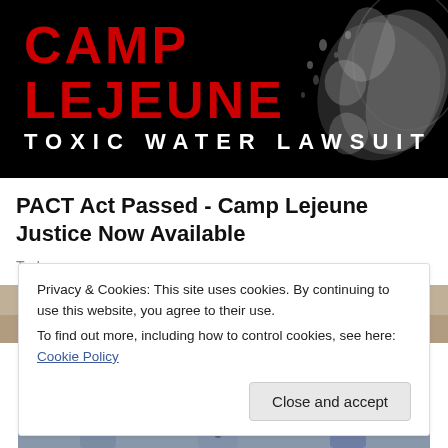[Figure (photo): Black background banner with red bold text 'CAMP LEJEUNE' and white text 'TOXIC WATER LAWSUIT', with water splash graphic on right side]
PACT Act Passed - Camp Lejeune Justice Now Available
TruLaw
[Figure (photo): Partial blurred photo strip showing a table setting or people scene]
Privacy & Cookies: This site uses cookies. By continuing to use this website, you agree to their use.
To find out more, including how to control cookies, see here: Cookie Policy
Close and accept
[Figure (photo): Bottom partial photo strip showing people in business attire]